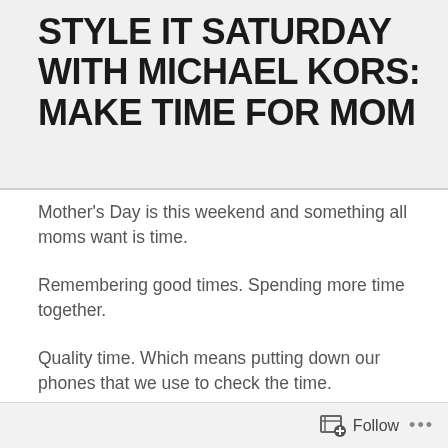STYLE IT SATURDAY WITH MICHAEL KORS: MAKE TIME FOR MOM
Mother's Day is this weekend and something all moms want is time.
Remembering good times. Spending more time together.
Quality time. Which means putting down our phones that we use to check the time.
Give her a watch! She can glance at it instead of picking up her phone while you're together.
Follow